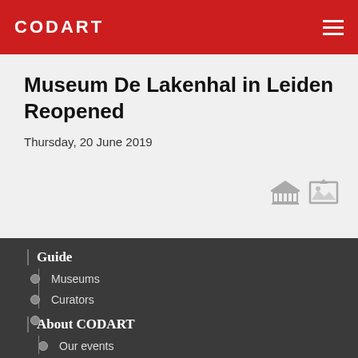CODART
Museum De Lakenhal in Leiden Reopened
Thursday, 20 June 2019
[Figure (illustration): Two small grey icons: a museum building icon and a picture/artwork icon]
Guide
Museums
Curators
Exhibitions & Events
About CODART
Our events